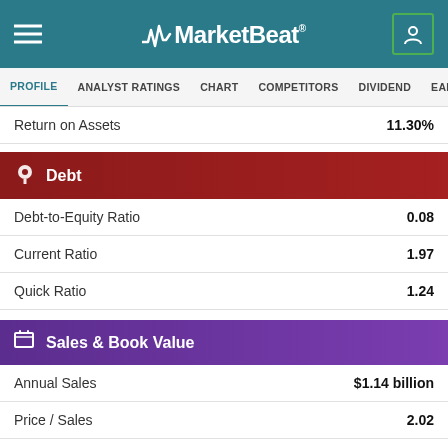MarketBeat
PROFILE | ANALYST RATINGS | CHART | COMPETITORS | DIVIDEND | EARNINGS
| Metric | Value |
| --- | --- |
| Return on Assets | 11.30% |
Debt
| Metric | Value |
| --- | --- |
| Debt-to-Equity Ratio | 0.08 |
| Current Ratio | 1.97 |
| Quick Ratio | 1.24 |
Sales & Book Value
| Metric | Value |
| --- | --- |
| Annual Sales | $1.14 billion |
| Price / Sales | 2.02 |
| Cash Flow | $3.05 per share |
| Price / Cash Flow | 15.15 |
| Book Value | $18.50 per share |
| Price / Book | 2.49 |